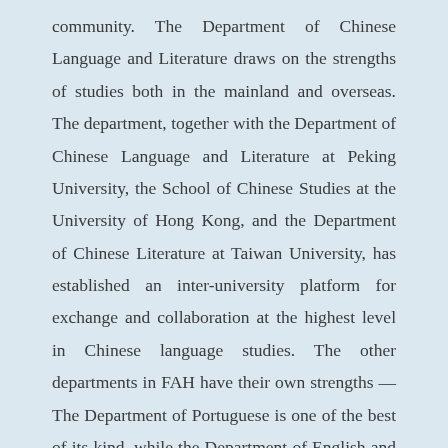community. The Department of Chinese Language and Literature draws on the strengths of studies both in the mainland and overseas. The department, together with the Department of Chinese Language and Literature at Peking University, the School of Chinese Studies at the University of Hong Kong, and the Department of Chinese Literature at Taiwan University, has established an inter-university platform for exchange and collaboration at the highest level in Chinese language studies. The other departments in FAH have their own strengths — The Department of Portuguese is one of the best of its kind, while the Department of English and the Centre for Japanese Studies have for many years